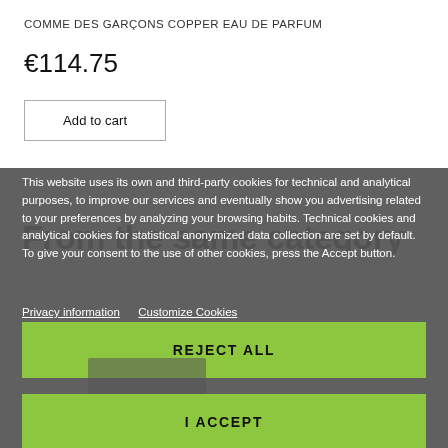COMME DES GARÇONS COPPER EAU DE PARFUM
€114.75
Add to cart
From the same category
This website uses its own and third-party cookies for technical and analytical purposes, to improve our services and eventually show you advertising related to your preferences by analyzing your browsing habits. Technical cookies and analytical cookies for statistical anonymized data collection are set by default. To give your consent to the use of other cookies, press the Accept button.
Privacy information   Customize Cookies
REJECT ALL
I ACCEPT